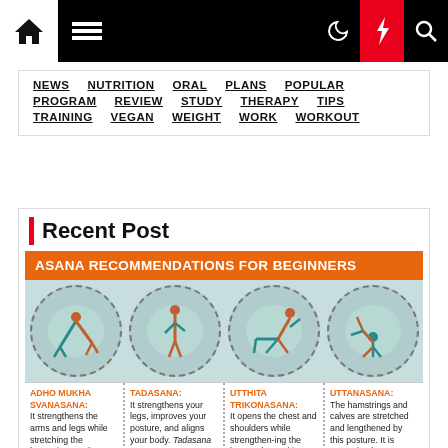Navigation bar with home, menu, moon, bolt, search icons
NEWS  NUTRITION  ORAL  PLANS  POPULAR
PROGRAM  REVIEW  STUDY  THERAPY  TIPS
TRAINING  VEGAN  WEIGHT  WORK  WORKOUT
Recent Post
[Figure (infographic): Asana Recommendations for Beginners infographic showing four yoga poses in dashed circles: Adho Mukha Svanasana, Tadasana, Utthita Trikonasana, Uttanasana with descriptions.]
ADHO MUKHA SVANASANA: It strengthens the arms and legs while stretching the hamstrings and
TADASANA: It strengthens your legs, improves your posture, and aligns your body. Tadasana may
UTTHITA TRIKONASANA: It opens the chest and shoulders while strengthening the legs and stretching the
UTTANASANA: The hamstrings and calves are stretched and lengthened by this posture. It is recognised as a